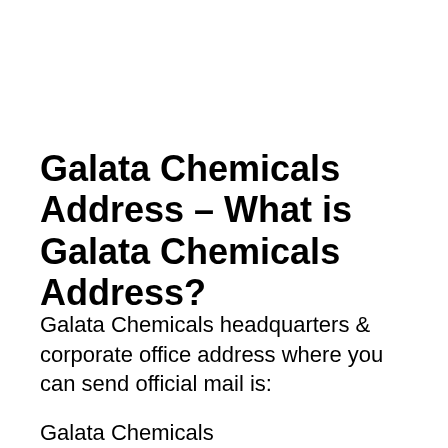Galata Chemicals Address – What is Galata Chemicals Address?
Galata Chemicals headquarters & corporate office address where you can send official mail is:
Galata Chemicals